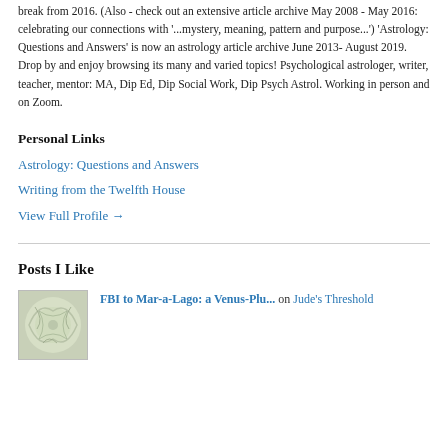break from 2016. (Also - check out an extensive article archive May 2008 - May 2016: celebrating our connections with '...mystery, meaning, pattern and purpose...') 'Astrology: Questions and Answers' is now an astrology article archive June 2013- August 2019. Drop by and enjoy browsing its many and varied topics! Psychological astrologer, writer, teacher, mentor: MA, Dip Ed, Dip Social Work, Dip Psych Astrol. Working in person and on Zoom.
Personal Links
Astrology: Questions and Answers
Writing from the Twelfth House
View Full Profile →
Posts I Like
[Figure (illustration): Thumbnail image for a blog post, appears to be a decorative illustration with swirling patterns and figures in muted greens and whites.]
FBI to Mar-a-Lago: a Venus-Plu... on Jude's Threshold